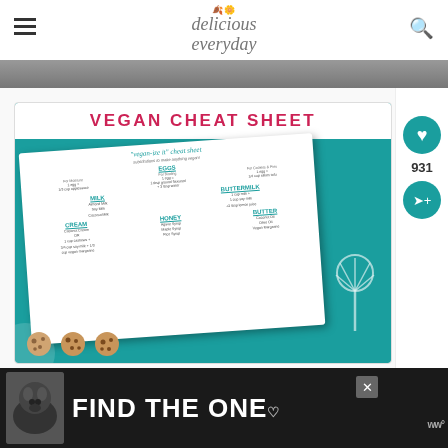delicious everyday (logo with hamburger menu and search icon)
[Figure (infographic): Vegan Cheat Sheet infographic on teal background showing a white card with 'vegan-ize it cheat sheet - substitutions to make anything vegan!' with sections for EGGS, MILK, BUTTERMILK, CREAM, HONEY, BUTTER with substitution details. Decorative whisk and cookies visible.]
VEGAN CHEAT SHEET
[Figure (photo): Advertisement banner at bottom: black background with dog photo on left and text 'FIND THE ONE' in large white letters, with close X button]
931